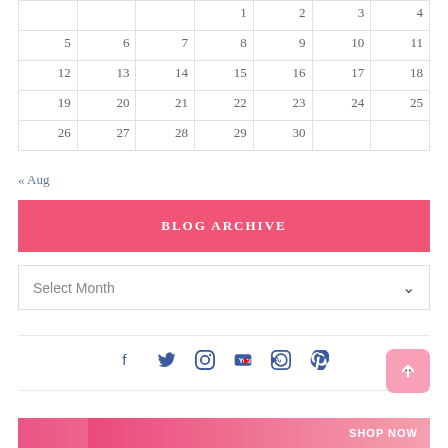|  |  |  | 1 | 2 | 3 | 4 |
| 5 | 6 | 7 | 8 | 9 | 10 | 11 |
| 12 | 13 | 14 | 15 | 16 | 17 | 18 |
| 19 | 20 | 21 | 22 | 23 | 24 | 25 |
| 26 | 27 | 28 | 29 | 30 |  |  |
« Aug
BLOG ARCHIVE
Select Month
[Figure (infographic): Social media icons row: Facebook, Twitter, Pinterest, Instagram, YouTube, RSS]
[Figure (other): Back to top button with upward arrow]
[Figure (other): Bottom banner with pink gradient and SHOP NOW text]